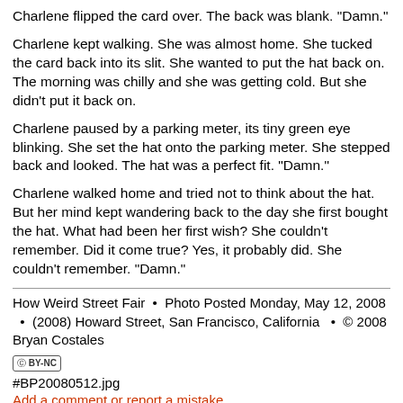Charlene flipped the card over. The back was blank. "Damn."
Charlene kept walking. She was almost home. She tucked the card back into its slit. She wanted to put the hat back on. The morning was chilly and she was getting cold. But she didn't put it back on.
Charlene paused by a parking meter, its tiny green eye blinking. She set the hat onto the parking meter. She stepped back and looked. The hat was a perfect fit. "Damn."
Charlene walked home and tried not to think about the hat. But her mind kept wandering back to the day she first bought the hat. What had been her first wish? She couldn't remember. Did it come true? Yes, it probably did. She couldn't remember. "Damn."
How Weird Street Fair  •  Photo Posted Monday, May 12, 2008   •  (2008) Howard Street, San Francisco, California   •  © 2008 Bryan Costales
[cc] BY-NC
#BP20080512.jpg
Add a comment or report a mistake